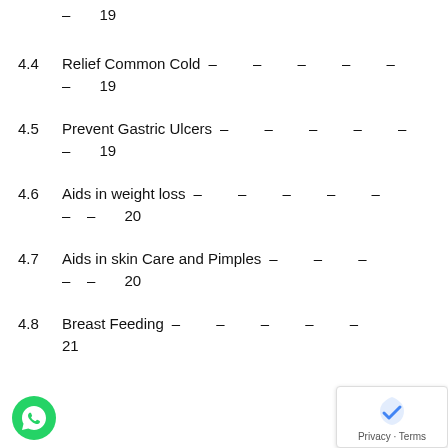– 19
4.4 Relief Common Cold – – – – – – 19
4.5 Prevent Gastric Ulcers – – – – – – 19
4.6 Aids in weight loss – – – – – – – 20
4.7 Aids in skin Care and Pimples – – – – – 20
4.8 Breast Feeding – – – – – 21